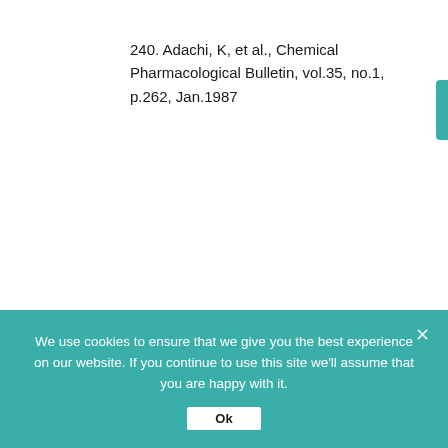240. Adachi, K, et al., Chemical Pharmacological Bulletin, vol.35, no.1, p.262, Jan.1987
241. Ohno, N, et al., Journal Pharmacobiodynamics, vol.9, no.10, p.861, Oct.1986
We use cookies to ensure that we give you the best experience on our website. If you continue to use this site we'll assume that you are happy with it.